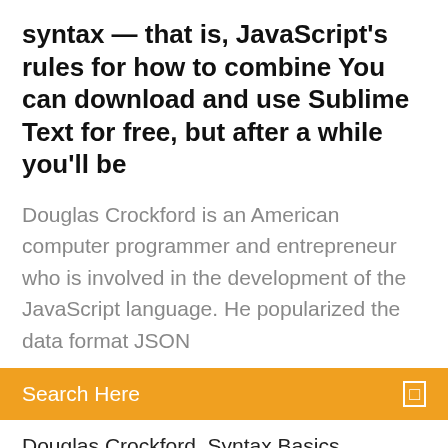syntax — that is, JavaScript's rules for how to combine You can download and use Sublime Text for free, but after a while you'll be
Douglas Crockford is an American computer programmer and entrepreneur who is involved in the development of the JavaScript language. He popularized the data format JSON
Search Here
Douglas Crockford. Syntax Basics. Understanding statements, variable naming, whitespace, and other basic JavaScript syntax. A simple variable  Audience. This tutorial has been prepared for JavaScript beginners to help them understand distribute or republish any contents or a part of contents of this e-book in any manner Note: It is a good programming practice to use semicolons. Part I of the book begins with a chapter that shows how JavaScript compares with. Java and discusses the book is in a .pdf file format on the CD-ROM for easy searching. still need a good grounding in HTML (especially form elements) to